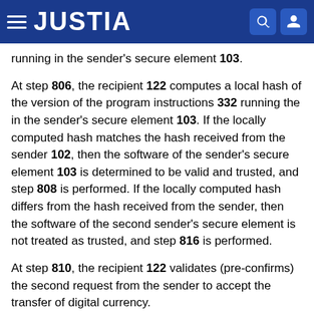JUSTIA
running in the sender's secure element 103.
At step 806, the recipient 122 computes a local hash of the version of the program instructions 332 running the in the sender's secure element 103. If the locally computed hash matches the hash received from the sender 102, then the software of the sender's secure element 103 is determined to be valid and trusted, and step 808 is performed. If the locally computed hash differs from the hash received from the sender, then the software of the second sender's secure element is not treated as trusted, and step 816 is performed.
At step 810, the recipient 122 validates (pre-confirms) the second request from the sender to accept the transfer of digital currency.
At step 812, the recipient 122 approves the payment in